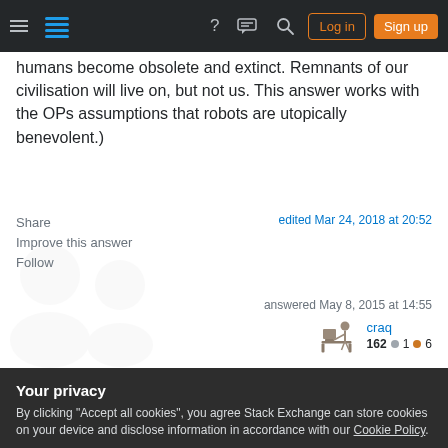Stack Exchange navigation bar with Log in and Sign up buttons
humans become obsolete and extinct. Remnants of our civilisation will live on, but not us. This answer works with the OPs assumptions that robots are utopically benevolent.)
Share
Improve this answer
Follow
edited Mar 24, 2018 at 20:52
answered May 8, 2015 at 14:55
craq
162 ●1 ●6
Your privacy
By clicking "Accept all cookies", you agree Stack Exchange can store cookies on your device and disclose information in accordance with our Cookie Policy.
Accept all cookies   Customize settings
can be automated "free of charge". A machine with